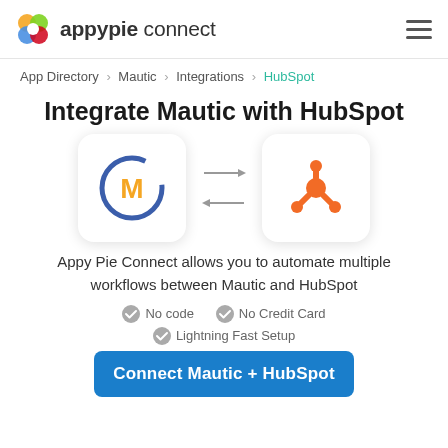appypie connect
App Directory > Mautic > Integrations > HubSpot
Integrate Mautic with HubSpot
[Figure (logo): Mautic logo (blue circle with gold M) and HubSpot logo (orange sprocket with circle) connected by bidirectional arrows]
Appy Pie Connect allows you to automate multiple workflows between Mautic and HubSpot
No code
No Credit Card
Lightning Fast Setup
Connect Mautic + HubSpot